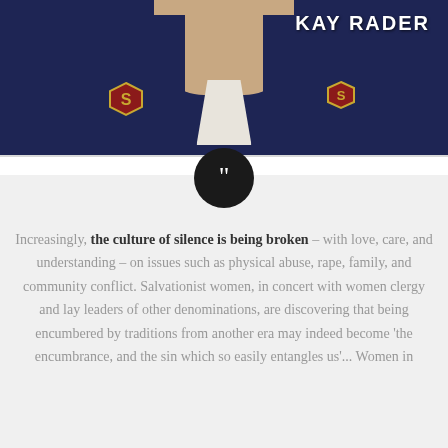[Figure (photo): Photo of Kay Rader in Salvation Army uniform with gold 'S' badges, name 'KAY RADER' displayed in white bold text overlay at top right]
Increasingly, the culture of silence is being broken – with love, care, and understanding – on issues such as physical abuse, rape, family, and community conflict. Salvationist women, in concert with women clergy and lay leaders of other denominations, are discovering that being encumbered by traditions from another era may indeed become 'the encumbrance, and the sin which so easily entangles us'... Women in